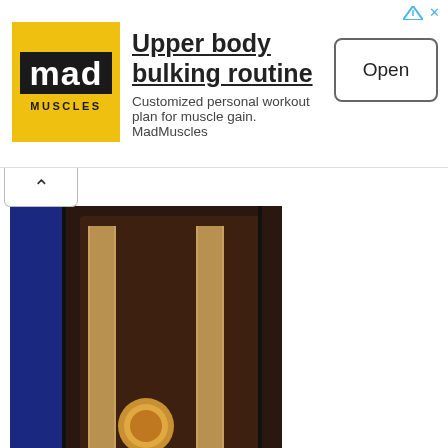[Figure (screenshot): MadMuscles app advertisement banner with logo, title 'Upper body bulking routine', description text, and Open button]
Upper body bulking routine
Customized personal workout plan for muscle gain. MadMuscles
If I Could Make a Living
[Figure (photo): Clay Walker album cover - Live, Laugh, Love - showing Clay Walker smiling, with text CLAY WALKER and LIVE, LAUGH, LOVE on the cover]
[Figure (photo): Partial album artwork showing ornate wooden doors or furniture detail with gold circular emblem, on dark background with blue panel on left]